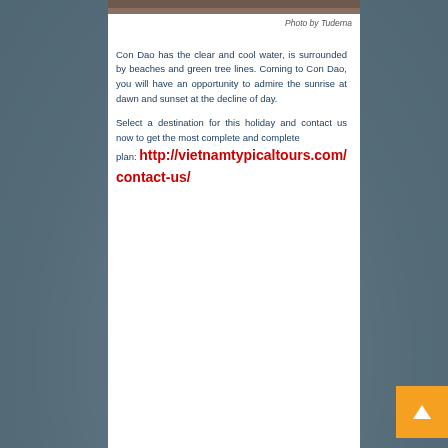[Figure (photo): Partial view of a beach/coastal photo strip at the top of the content panel]
Photo by Tuderna
Con Dao has the clear and cool water, is surrounded by beaches and green tree lines. Coming to Con Dao, you will have an opportunity to admire the sunrise at dawn and sunset at the decline of day.
Select a destination for this holiday and contact us now to get the most complete and complete plan: http://vietnamtypicaltours.com/contact-us/